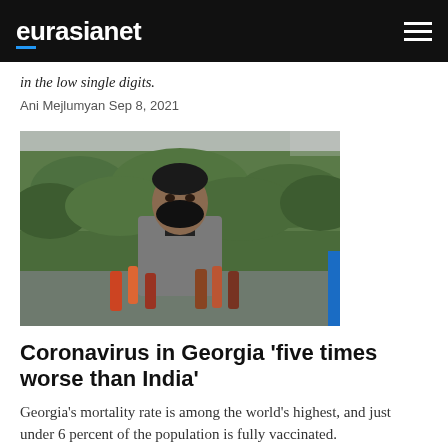eurasianet
in the low single digits.
Ani Mejlumyan Sep 8, 2021
[Figure (photo): Man in black mask and grey suit speaking to several microphones at a press conference, with green hedges in the background]
Coronavirus in Georgia ‘five times worse than India’
Georgia’s mortality rate is among the world’s highest, and just under 6 percent of the population is fully vaccinated.
Giorgi Lomsadze Aug 13, 2021